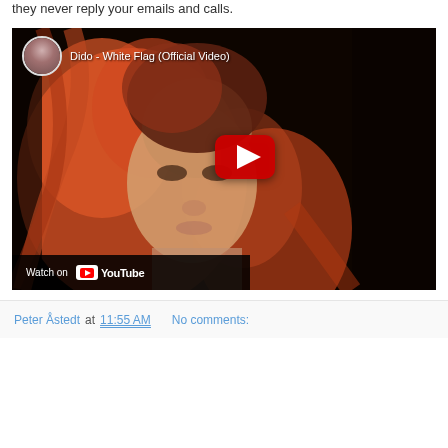they never reply your emails and calls.
[Figure (screenshot): YouTube video thumbnail for 'Dido - White Flag (Official Video)' showing a woman with orange/red hair. Includes YouTube avatar, video title, play button, and 'Watch on YouTube' footer bar.]
Peter Åstedt at 11:55 AM   No comments:
Share